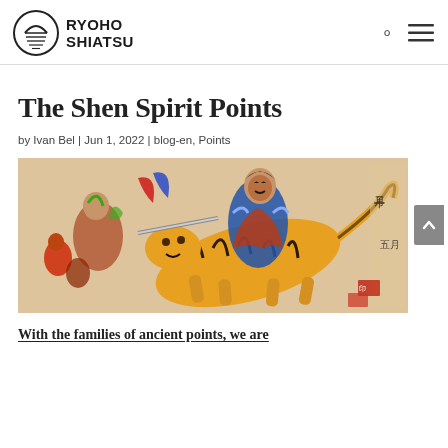RYOHO SHIATSU
The Shen Spirit Points
by Ivan Bel | Jun 1, 2022 | blog-en, Points
[Figure (illustration): Japanese woodblock print style illustration showing a warrior figure riding a tiger, with other figures in combat, traditional Japanese artwork with Chinese/Japanese text characters on right side]
With the families of ancient points, we are